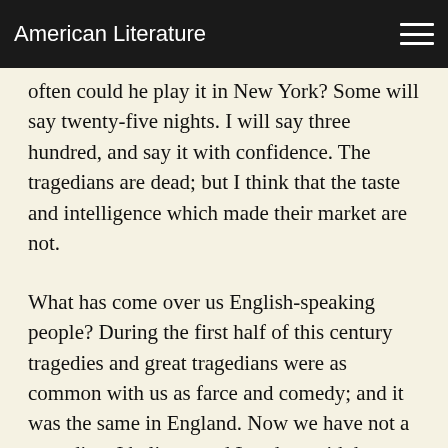American Literature
often could he play it in New York? Some will say twenty-five nights. I will say three hundred, and say it with confidence. The tragedians are dead; but I think that the taste and intelligence which made their market are not.
What has come over us English-speaking people? During the first half of this century tragedies and great tragedians were as common with us as farce and comedy; and it was the same in England. Now we have not a tragedian, I believe, and London, with her fifty shows and theatres, has but three, I think. It is an astonishing thing, when you come to consider it. Vienna remains upon the ancient basis: there has